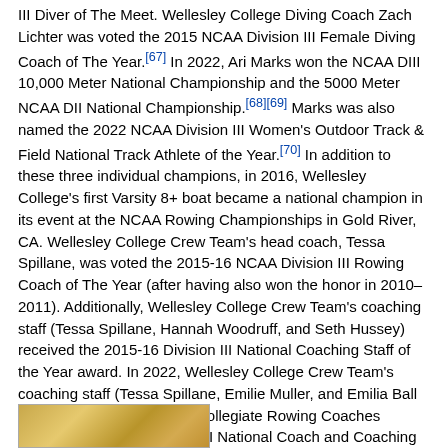III Diver of The Meet. Wellesley College Diving Coach Zach Lichter was voted the 2015 NCAA Division III Female Diving Coach of The Year.[67] In 2022, Ari Marks won the NCAA DIII 10,000 Meter National Championship and the 5000 Meter NCAA DII National Championship.[68][69] Marks was also named the 2022 NCAA Division III Women's Outdoor Track & Field National Track Athlete of the Year.[70] In addition to these three individual champions, in 2016, Wellesley College's first Varsity 8+ boat became a national champion in its event at the NCAA Rowing Championships in Gold River, CA. Wellesley College Crew Team's head coach, Tessa Spillane, was voted the 2015-16 NCAA Division III Rowing Coach of The Year (after having also won the honor in 2010–2011). Additionally, Wellesley College Crew Team's coaching staff (Tessa Spillane, Hannah Woodruff, and Seth Hussey) received the 2015-16 Division III National Coaching Staff of the Year award. In 2022, Wellesley College Crew Team's coaching staff (Tessa Spillane, Emilie Muller, and Emilia Ball '19) were named the 2022 Collegiate Rowing Coaches Association NCAA Division III National Coach and Coaching Staff of the Year.[71]
Traditions
[Figure (photo): Partial view of a wooden surface or object, golden/brown tones, cropped at bottom of page.]